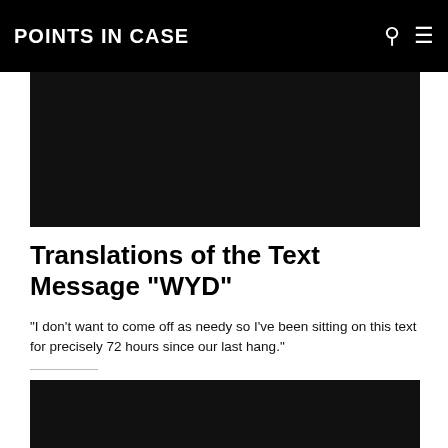POINTS IN CASE
[Figure (photo): Dark/black rectangular image at the top of the article]
Translations of the Text Message “WYD”
“I don’t want to come off as needy so I’ve been sitting on this text for precisely 72 hours since our last hang.”
by Blair Dawson | December 3, 2019
[Figure (photo): Dark/black rectangular image at the bottom of the article]